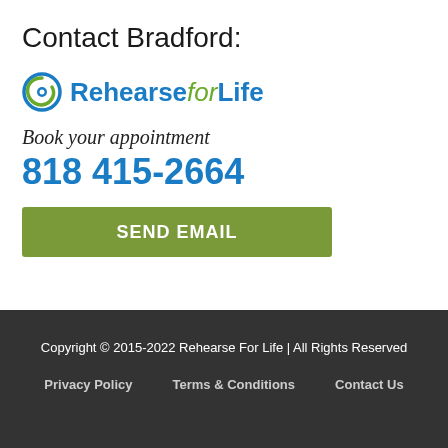Contact Bradford:
[Figure (logo): Rehearse for Life logo with circular green/blue icon and blue/green text]
Book your appointment
818 415-2664
SEND EMAIL
Copyright © 2015-2022 Rehearse For Life | All Rights Reserved
Privacy Policy   Terms & Conditions   Contact Us